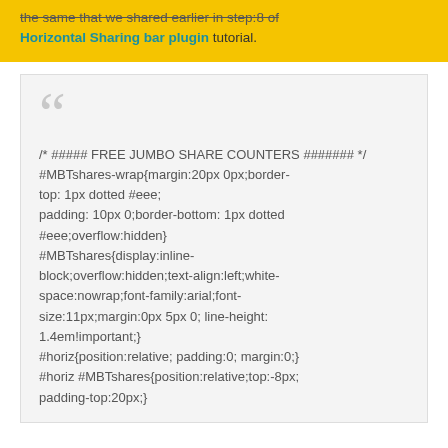the same that we shared earlier in step:8 of Horizontal Sharing bar plugin tutorial.
/* ##### FREE JUMBO SHARE COUNTERS ####### */ #MBTshares-wrap{margin:20px 0px;border-top: 1px dotted #eee; padding: 10px 0;border-bottom: 1px dotted #eee;overflow:hidden} #MBTshares{display:inline-block;overflow:hidden;text-align:left;white-space:nowrap;font-family:arial;font-size:11px;margin:0px 5px 0; line-height: 1.4em!important;} #horiz{position:relative; padding:0; margin:0;} #horiz #MBTshares{position:relative;top:-8px; padding-top:20px;}